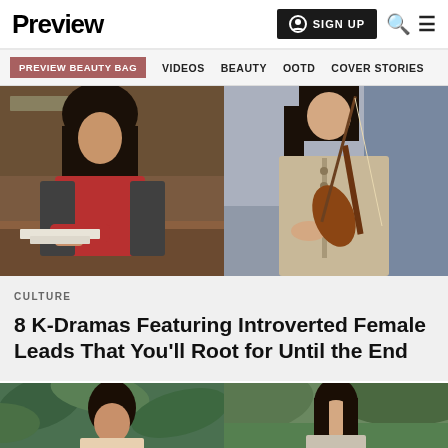Preview | SIGN UP | Search | Menu
PREVIEW BEAUTY BAG | VIDEOS | BEAUTY | OOTD | COVER STORIES
[Figure (photo): Two side-by-side photos: left shows a woman in a red and dark knit sweater sitting at a desk/table indoors; right shows a woman in a beige jacket playing a violin.]
CULTURE
8 K-Dramas Featuring Introverted Female Leads That You'll Root for Until the End
[Figure (photo): Two side-by-side photos at the bottom of the page partially visible: left shows a woman with dark hair surrounded by green leaves/plants; right shows a woman with long hair outdoors with greenery in background.]